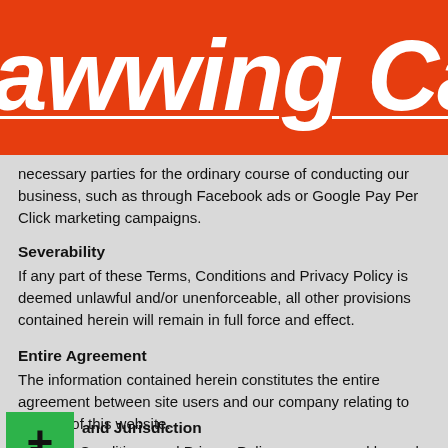awwing Cabin
necessary parties for the ordinary course of conducting our business, such as through Facebook ads or Google Pay Per Click marketing campaigns.
Severability
If any part of these Terms, Conditions and Privacy Policy is deemed unlawful and/or unenforceable, all other provisions contained herein will remain in full force and effect.
Entire Agreement
The information contained herein constitutes the entire agreement between site users and our company relating to the use of this website.
and Jurisdiction
e Terms, Conditions and Privacy Policy are governed by and construed in accordance with United States law. Any dispute arising out of or related to the information contained herein is subject to adjudication in the state of California, United States of America.